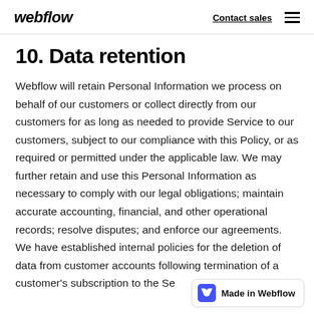webflow | Contact sales
10. Data retention
Webflow will retain Personal Information we process on behalf of our customers or collect directly from our customers for as long as needed to provide Service to our customers, subject to our compliance with this Policy, or as required or permitted under the applicable law. We may further retain and use this Personal Information as necessary to comply with our legal obligations; maintain accurate accounting, financial, and other operational records; resolve disputes; and enforce our agreements. We have established internal policies for the deletion of data from customer accounts following termination of a customer's subscription to the Se